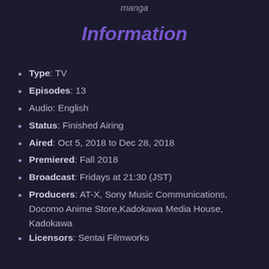manga
Information
Type: TV
Episodes: 13
Audio: English
Status: Finished Airing
Aired: Oct 5, 2018 to Dec 28, 2018
Premiered: Fall 2018
Broadcast: Fridays at 21:30 (JST)
Producers: AT-X, Sony Music Communications, Docomo Anime Store,Kadokawa Media House, Kadokawa
Licensors: Sentai Filmworks